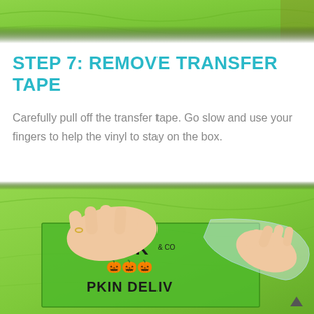[Figure (photo): Top portion of a photo showing a bright green surface with some texture, partial view of a craft project.]
STEP 7: REMOVE TRANSFER TAPE
Carefully pull off the transfer tape. Go slow and use your fingers to help the vinyl to stay on the box.
[Figure (photo): Hands peeling transfer tape off a green box with a Halloween-themed vinyl decal reading 'Jack & Co PKIN DELIV' with pumpkin graphics.]